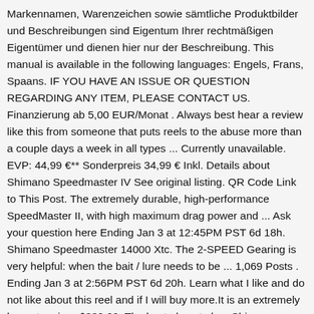Markennamen, Warenzeichen sowie sämtliche Produktbilder und Beschreibungen sind Eigentum Ihrer rechtmäßigen Eigentümer und dienen hier nur der Beschreibung. This manual is available in the following languages: Engels, Frans, Spaans. IF YOU HAVE AN ISSUE OR QUESTION REGARDING ANY ITEM, PLEASE CONTACT US. Finanzierung ab 5,00 EUR/Monat . Always best hear a review like this from someone that puts reels to the abuse more than a couple days a week in all types ... Currently unavailable. EVP: 44,99 €** Sonderpreis 34,99 € Inkl. Details about Shimano Speedmaster IV See original listing. QR Code Link to This Post. The extremely durable, high-performance SpeedMaster II, with high maximum drag power and ... Ask your question here Ending Jan 3 at 12:45PM PST 6d 18h. Shimano Speedmaster 14000 Xtc. The 2-SPEED Gearing is very helpful: when the bait / lure needs to be ... 1,069 Posts . Ending Jan 3 at 2:56PM PST 6d 20h. Learn what I like and do not like about this reel and if I will buy more.It is an extremely honest review. $330.00. The best place to buy Shimano gear for your fishing reels, and the